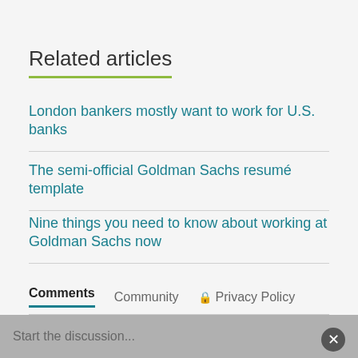Related articles
London bankers mostly want to work for U.S. banks
The semi-official Goldman Sachs resumé template
Nine things you need to know about working at Goldman Sachs now
Comments   Community   🔒 Privacy Policy
Login ▾
♡ Favorite   Sort by Newest ▾
Start the discussion...